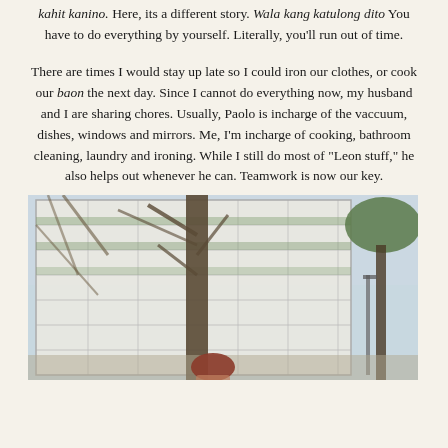kahit kanino. Here, its a different story. Wala kang katulong dito You have to do everything by yourself. Literally, you'll run out of time.
There are times I would stay up late so I could iron our clothes, or cook our baon the next day. Since I cannot do everything now, my husband and I are sharing chores. Usually, Paolo is incharge of the vaccuum, dishes, windows and mirrors. Me, I'm incharge of cooking, bathroom cleaning, laundry and ironing. While I still do most of "Leon stuff," he also helps out whenever he can. Teamwork is now our key.
[Figure (photo): Photo of a modern multi-storey building with balconies and scaffolding/grid facade, trees in the foreground, taken from street level. A person with red/auburn hair is visible at the bottom center of the image.]